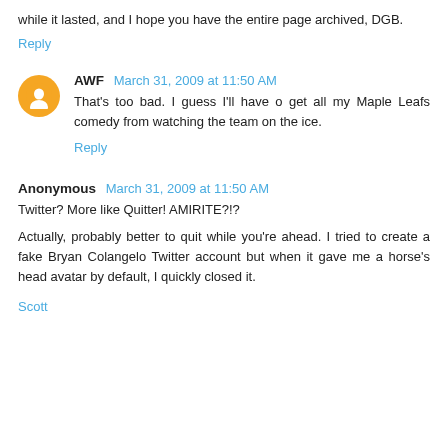while it lasted, and I hope you have the entire page archived, DGB.
Reply
AWF March 31, 2009 at 11:50 AM
That's too bad. I guess I'll have o get all my Maple Leafs comedy from watching the team on the ice.
Reply
Anonymous March 31, 2009 at 11:50 AM
Twitter? More like Quitter! AMIRITE?!?
Actually, probably better to quit while you're ahead. I tried to create a fake Bryan Colangelo Twitter account but when it gave me a horse's head avatar by default, I quickly closed it.
Scott